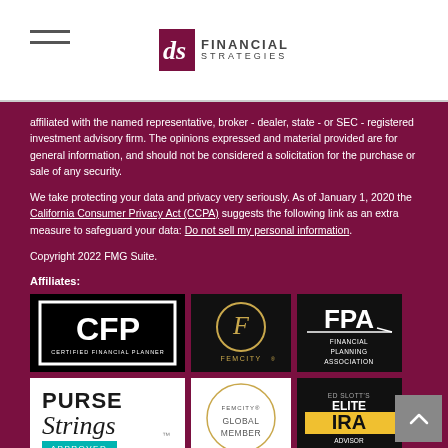DS Financial Strategies
affiliated with the named representative, broker - dealer, state - or SEC - registered investment advisory firm. The opinions expressed and material provided are for general information, and should not be considered a solicitation for the purchase or sale of any security.

We take protecting your data and privacy very seriously. As of January 1, 2020 the California Consumer Privacy Act (CCPA) suggests the following link as an extra measure to safeguard your data: Do not sell my personal information.

Copyright 2022 FMG Suite.
Affiliates:
[Figure (logo): CFP Certified Financial Planner logo - black background with white bold CFP text]
[Figure (logo): FemCity logo - black background with gold circle F and FEMCITY text]
[Figure (logo): FPA Financial Planning Association logo - black background with white FPA text]
[Figure (logo): Purse Strings Approved logo - white background with teal and dark text]
[Figure (logo): FemCity Global Member logo - white background with gold circle]
[Figure (logo): Ed Slott's Elite IRA Advisor Group logo - black background with gold IRA text]